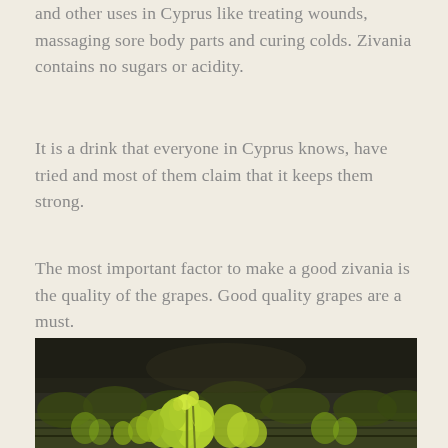and other uses in Cyprus like treating wounds, massaging sore body parts and curing colds. Zivania contains no sugars or acidity.
It is a drink that everyone in Cyprus knows, have tried and most of them claim that it keeps them strong.
The most important factor to make a good zivania is the quality of the grapes. Good quality grapes are a must.
[Figure (photo): Photo of green grape vine leaves in a vineyard with dark blurred background]